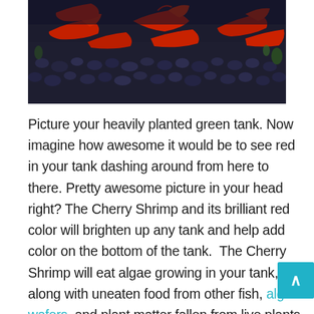[Figure (photo): Close-up photo of red cherry shrimp on dark blue/black substrate gravel in an aquarium tank. Multiple bright red shrimp are visible darting around on the dark granular substrate.]
Picture your heavily planted green tank. Now imagine how awesome it would be to see red in your tank dashing around from here to there. Pretty awesome picture in your head right? The Cherry Shrimp and its brilliant red color will brighten up any tank and help add color on the bottom of the tank.  The Cherry Shrimp will eat algae growing in your tank, along with uneaten food from other fish, algae wafers, and plant matter fallen from live plants in your tank and as an added bonus will bring life and color to the bottom of your tank.